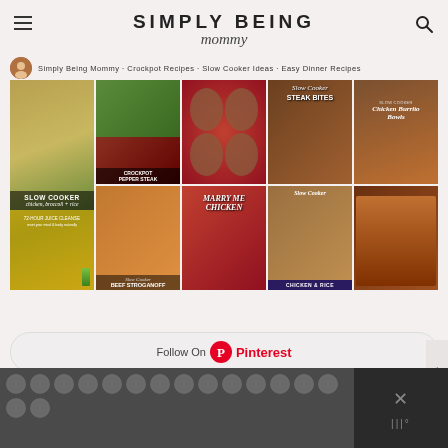SIMPLY BEING mommy
[Figure (screenshot): Pinterest board widget showing a grid of slow cooker / crockpot recipe images including Crockpot Pepper Steak, Slow Cooker Chicken Broccoli and Rice, meatballs in tomato sauce, Slow Cooker Steak Bites, Slow Cooker Chicken Burrito Bowls, Slow Cooker Beef Stroganoff, a juice cleanse infographic, Marry Me Chicken, Slow Cooker Chicken & Rice, and braised short ribs]
Follow On Pinterest
[Figure (screenshot): Dark bottom bar with gray polka-dot pattern and close/dismiss icon on the right side]